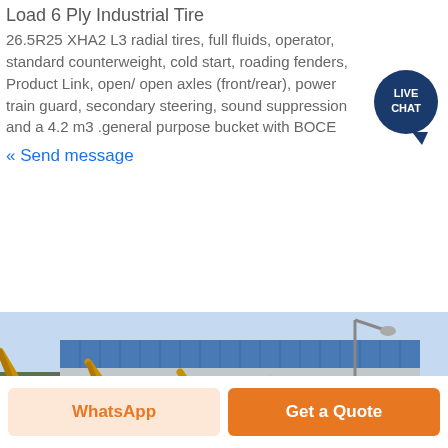Load 6 Ply Industrial Tire
26.5R25 XHA2 L3 radial tires, full fluids, operator, standard counterweight, cold start, roading fenders, Product Link, open/ open axles (front/rear), power train guard, secondary steering, sound suppression and a 4.2 m3 general purpose bucket with BOCE
« Send message
[Figure (photo): Row of yellow construction backhoe loaders parked in front of a large industrial building with blue corrugated metal roof, outdoor setting with trees and sky visible.]
WhatsApp
Get a Quote